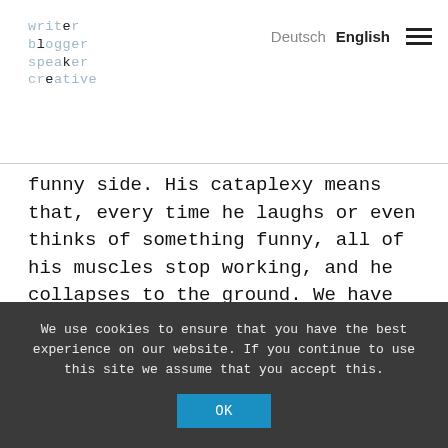writer blogger speaker creative | Deutsch English
funny side. His cataplexy means that, every time he laughs or even thinks of something funny, all of his muscles stop working, and he collapses to the ground. We have decided he should be a fall down comedian, because he would clearly be hopeless at stand up...
So what lessons have I learnt over these last eventful eleven years that might be helpful?
We use cookies to ensure that you have the best experience on our website. If you continue to use this site we assume that you accept this. OK